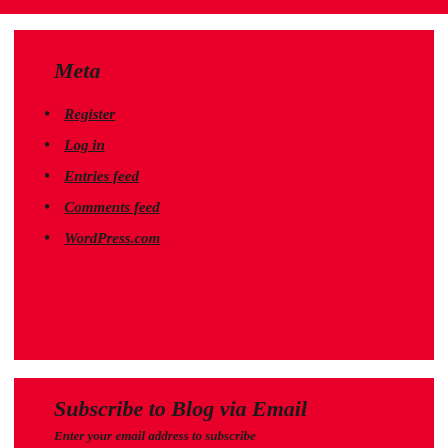Meta
Register
Log in
Entries feed
Comments feed
WordPress.com
Subscribe to Blog via Email
Enter your email address to subscribe